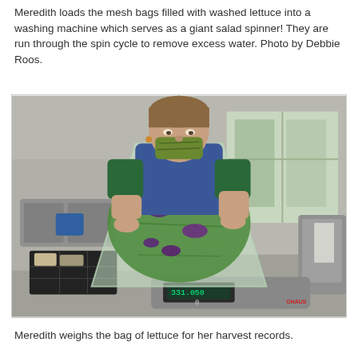Meredith loads the mesh bags filled with washed lettuce into a washing machine which serves as a giant salad spinner! They are run through the spin cycle to remove excess water. Photo by Debbie Roos.
[Figure (photo): A woman wearing a mask and blue vest weighs a large clear plastic bag filled with shredded green lettuce and purple vegetables on a digital scale in a commercial kitchen. Black produce crates are visible on the left, and a large industrial sink and window are in the background.]
Meredith weighs the bag of lettuce for her harvest records.